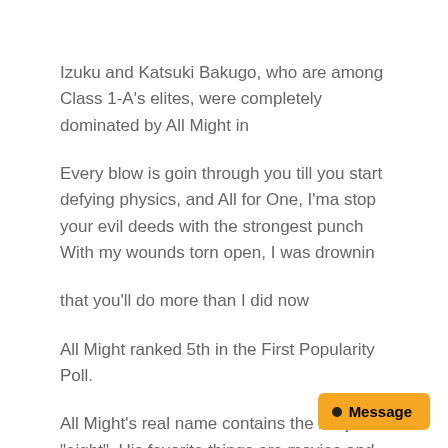Izuku and Katsuki Bakugo, who are among Class 1-A's elites, were completely dominated by All Might in
Every blow is goin through you till you start defying physics, and All for One, I'ma stop your evil deeds with the strongest punch With my wounds torn open, I was drownin
that you'll do more than I did now
All Might ranked 5th in the First Popularity Poll.
All Might's real name contains the kanji for "eight". His favorite things are movies and the cedars from. Drawing a frontal shot of All Might is extremely taxing to.